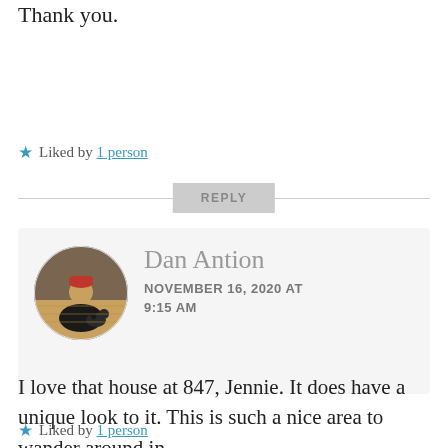Thank you.
★ Liked by 1 person
REPLY
[Figure (photo): Circular avatar photo of Dan Antion, a man in a red cap sitting on a wooden surface with a dog]
Dan Antion
NOVEMBER 16, 2020 AT 9:15 AM
I love that house at 847, Jennie. It does have a unique look to it. This is such a nice area to wander around in.
★ Liked by 1 person